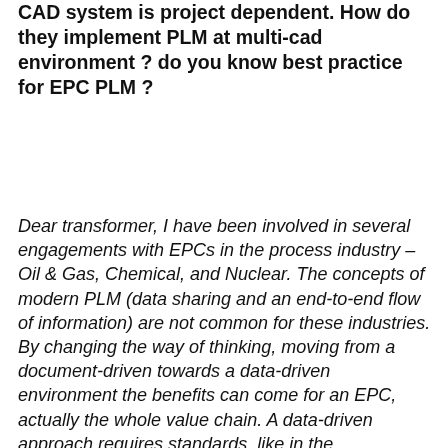CAD system is project dependent. How do they implement PLM at multi-cad environment ? do you know best practice for EPC PLM ?
Dear transformer, I have been involved in several engagements with EPCs in the process industry – Oil & Gas, Chemical, and Nuclear. The concepts of modern PLM (data sharing and an end-to-end flow of information) are not common for these industries. By changing the way of thinking, moving from a document-driven towards a data-driven environment the benefits can come for an EPC, actually the whole value chain. A data-driven approach requires standards, like in the construction industry BIM (IFC) or in the process industry ISO 15926.